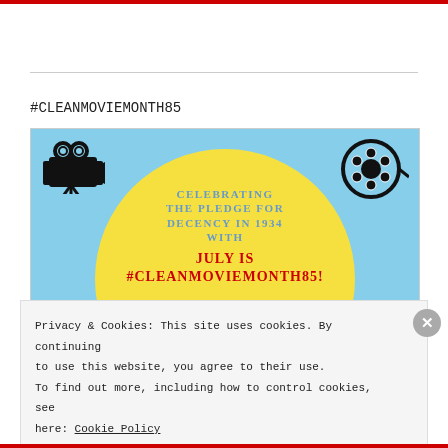#CLEANMOVIEMONTH85
[Figure (illustration): Clean Movie Month 85 promotional banner with light blue background, yellow sun circle, movie camera icon top-left, film reel icon top-right. Text: 'CELEBRATING THE PLEDGE FOR DECENCY IN 1934 WITH JULY IS #CLEANMOVIEMONTH85!']
Privacy & Cookies: This site uses cookies. By continuing to use this website, you agree to their use.
To find out more, including how to control cookies, see here: Cookie Policy
Close and accept